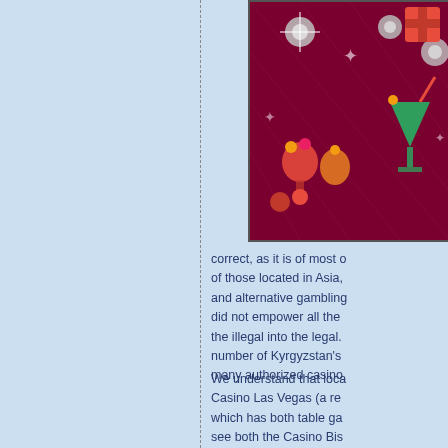[Figure (photo): A casino-themed image on dark red/maroon background showing disco balls, cocktail drinks, gifts and party items — slot machine game symbols or decorative casino imagery.]
correct, as it is of most of those located in Asia, and alternative gambling did not empower all the the illegal into the legal. number of Kyrgyzstan's many authorized casino
We understand that loca Casino Las Vegas (a re which has both table ga see both the Casino Bis contain 26 slots and 11 one, and poker. Given t these two Kyrgyzstan ga astonishing to determine most bewildering, so we Kyrgyzstan's gambling h members, 1 of them hav